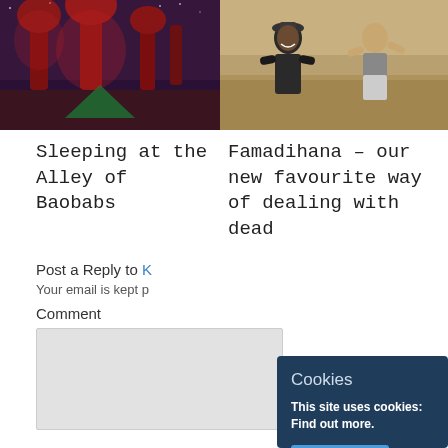[Figure (photo): Baobab trees illuminated at night in red, with a green tent, dark sky background]
[Figure (photo): Two men outdoors in a field, one wearing a hat and dark jacket, one in a sleeveless shirt]
Sleeping at the Alley of Baobabs
Famadihana – our new favourite way of dealing with dead
Post a Reply to K
Your email is kept p
Comment
Cookies
This site uses cookies: Find out more.
Okay, thanks